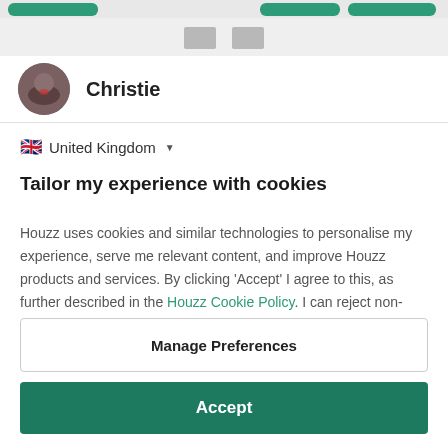[Figure (screenshot): Top navigation bar with green rounded buttons]
[Figure (screenshot): Grey navigation bar with two grey squares]
Christie
United Kingdom
Tailor my experience with cookies
Houzz uses cookies and similar technologies to personalise my experience, serve me relevant content, and improve Houzz products and services. By clicking 'Accept' I agree to this, as further described in the Houzz Cookie Policy. I can reject non-
Manage Preferences
Accept